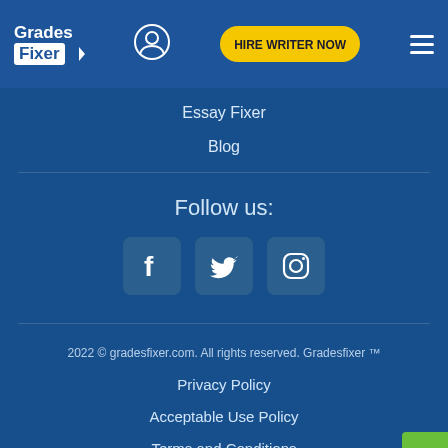[Figure (logo): Grades Fixer logo with pencil arrow icon]
[Figure (illustration): User account circle icon]
[Figure (illustration): HIRE WRITER NOW yellow button]
[Figure (illustration): Hamburger menu icon]
Essay Fixer
Blog
Follow us:
[Figure (illustration): Social media icons: Facebook, Twitter, Instagram]
2022 © gradesfixer.com. All rights reserved. Gradesfixer ™
Privacy Policy
Acceptable Use Policy
Terms and Conditions